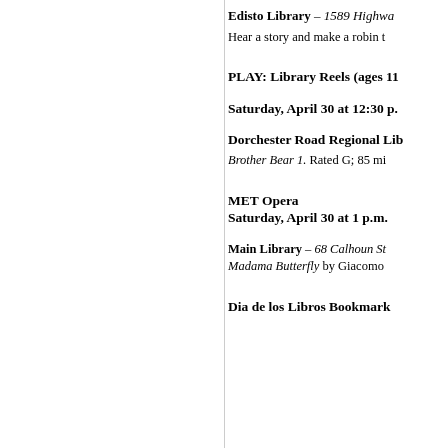Edisto Library – 1589 Highwa
Hear a story and make a robin t
PLAY: Library Reels (ages 11
Saturday, April 30 at 12:30 p.
Dorchester Road Regional Lib
Brother Bear 1. Rated G; 85 mi
MET Opera
Saturday, April 30 at 1 p.m.
Main Library – 68 Calhoun St
Madama Butterfly by Giacomo
Dia de los Libros Bookmark